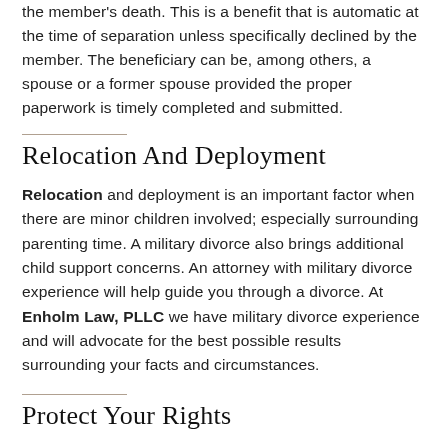the member's death. This is a benefit that is automatic at the time of separation unless specifically declined by the member. The beneficiary can be, among others, a spouse or a former spouse provided the proper paperwork is timely completed and submitted.
Relocation And Deployment
Relocation and deployment is an important factor when there are minor children involved; especially surrounding parenting time. A military divorce also brings additional child support concerns. An attorney with military divorce experience will help guide you through a divorce. At Enholm Law, PLLC we have military divorce experience and will advocate for the best possible results surrounding your facts and circumstances.
Protect Your Rights